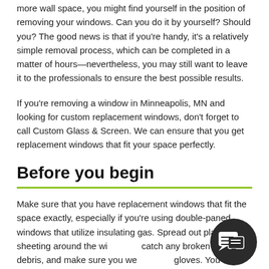more wall space, you might find yourself in the position of removing your windows. Can you do it by yourself? Should you? The good news is that if you're handy, it's a relatively simple removal process, which can be completed in a matter of hours—nevertheless, you may still want to leave it to the professionals to ensure the best possible results.
If you're removing a window in Minneapolis, MN and looking for custom replacement windows, don't forget to call Custom Glass & Screen. We can ensure that you get replacement windows that fit your space perfectly.
Before you begin
Make sure that you have replacement windows that fit the space exactly, especially if you're using double-paned windows that utilize insulating gas. Spread out plastic sheeting around the window to catch any broken glass or debris, and make sure you wear safety gloves. You may find it easier, especially if removing a large window, to remove the entire frame all at once.